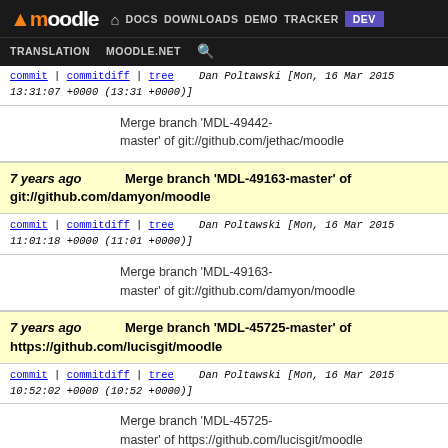Moodle | DOCS DOWNLOADS DEMO TRACKER DEV | TRANSLATION MOODLE.NET
commit | commitdiff | tree   Dan Poltawski [Mon, 16 Mar 2015 13:31:07 +0000 (13:31 +0000)]
Merge branch 'MDL-49442-master' of git://github.com/jethac/moodle
7 years ago   Merge branch 'MDL-49163-master' of git://github.com/damyon/moodle
commit | commitdiff | tree   Dan Poltawski [Mon, 16 Mar 2015 11:01:18 +0000 (11:01 +0000)]
Merge branch 'MDL-49163-master' of git://github.com/damyon/moodle
7 years ago   Merge branch 'MDL-45725-master' of https://github.com/lucisgit/moodle
commit | commitdiff | tree   Dan Poltawski [Mon, 16 Mar 2015 10:52:02 +0000 (10:52 +0000)]
Merge branch 'MDL-45725-master' of https://github.com/lucisgit/moodle